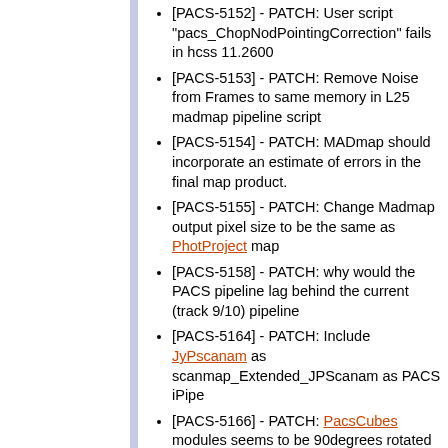[PACS-5152] - PATCH: User script "pacs_ChopNodPointingCorrection" fails in hcss 11.2600
[PACS-5153] - PATCH: Remove Noise from Frames to same memory in L25 madmap pipeline script
[PACS-5154] - PATCH: MADmap should incorporate an estimate of errors in the final map product.
[PACS-5155] - PATCH: Change Madmap output pixel size to be the same as PhotProject map
[PACS-5158] - PATCH: why would the PACS pipeline lag behind the current (track 9/10) pipeline
[PACS-5164] - PATCH: Include JyPscanam as scanmap_Extended_JPScanam as PACS iPipe
[PACS-5166] - PATCH: PacsCubes modules seems to be 90degrees rotated from PacsFrames ones
[PACS-5167] - PATCH: No map shown at the Spectrum Explorer for PACS cubes
[PACS-5170] - PATCH: PACS EDP: Convert Scanamorphos elements for PACS Data Analysis Software
[PACS-5171] - PATCH: Tool for computing the flux correction for small extended sources